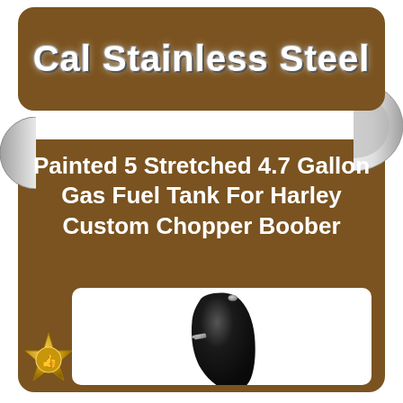[Figure (logo): Cal Stainless Steel logo text on brown rounded rectangle banner with chrome/white lettering]
Painted 5 Stretched 4.7 Gallon Gas Fuel Tank For Harley Custom Chopper Boober
[Figure (photo): Black painted stretched gas fuel tank for Harley Custom Chopper Boober, shown in white box inset on brown background, with a small silver cap on top and chrome petcock fitting on the side]